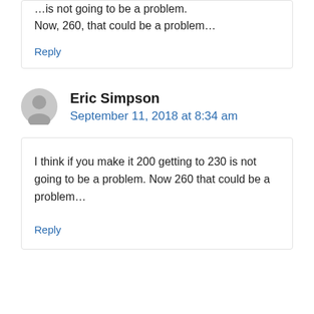...is not going to be a problem. Now, 260, that could be a problem...
Reply
Eric Simpson
September 11, 2018 at 8:34 am
I think if you make it 200 getting to 230 is not going to be a problem. Now 260 that could be a problem...
Reply